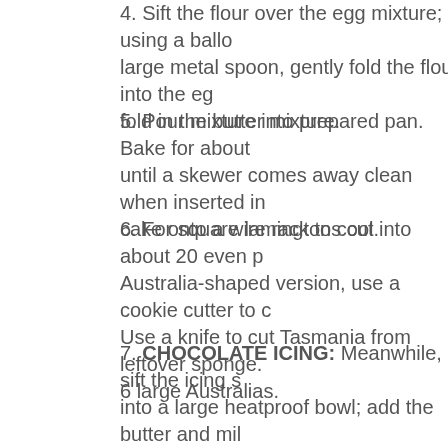4. Sift the flour over the egg mixture; using a ballo large metal spoon, gently fold the flour into the eg fold in the butter mixture.
5. Pour mixture into prepared pan. Bake for about until a skewer comes away clean when inserted in cake onto a wire rack to cool.
6. For square lamingtons cut into about 20 even p Australia-shaped version, use a cookie cutter to c Use a knife to cut Tasmania from leftover sponge. 6 large Australias.
7. CHOCOLATE ICING: Meanwhile, sift the icing s into a large heatproof bowl; add the butter and mil medium saucepan of simmering water until icing is enough to coat the back of a spoon.
8. Place coconut in a shallow bowl.
9. Using a large fork, dip each piece of cake briefly cake is coated. Alternatively turn in the chocolate bowl to drain off any excess. If the icing becomes